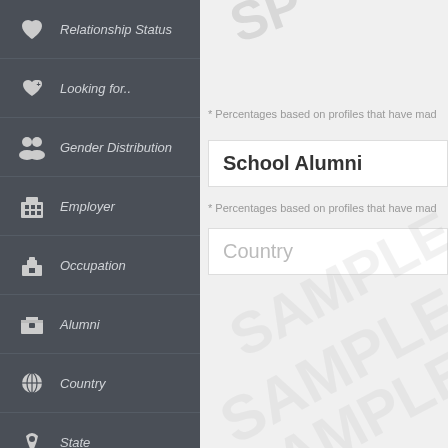Relationship Status
Looking for..
Gender Distribution
Employer
Occupation
Alumni
Country
State
City
World View
Notable People
Social Engagements
* Percentages based on profiles that have mad
School Alumni
* Percentages based on profiles that have mad
Country
[Figure (other): SAMPLE watermarks overlaid on right content panel]